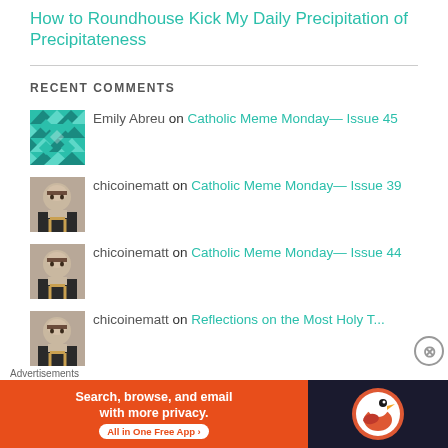How to Roundhouse Kick My Daily Precipitation of Precipitateness
RECENT COMMENTS
Emily Abreu on Catholic Meme Monday— Issue 45
chicoinematt on Catholic Meme Monday— Issue 39
chicoinematt on Catholic Meme Monday— Issue 44
chicoinematt on Reflections on the Most Holy T...
aria on Catholic Meme Monday— Issue 44
[Figure (infographic): DuckDuckGo advertisement banner: orange background with text 'Search, browse, and email with more privacy. All in One Free App' and DuckDuckGo logo on dark background]